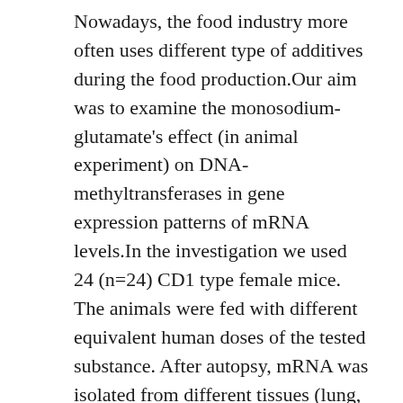Nowadays, the food industry more often uses different type of additives during the food production.Our aim was to examine the monosodium-glutamate's effect (in animal experiment) on DNA-methyltransferases in gene expression patterns of mRNA levels.In the investigation we used 24 (n=24) CD1 type female mice. The animals were fed with different equivalent human doses of the tested substance. After autopsy, mRNA was isolated from different tissues (lung, liver, kidney, spleen). DNMT1, DNMT3A and DNMT3B levels were determined by Quantitative Real-Time PCR.DNMT1 significantly suppressed the gene expression in all the three treated groups (p<0.05). The DNMT3A expression patterns showed significant decreasing tendency in the 1. and 2. treated groups of the lung tissue (p<0,05) and 1, 2, 3. groups of liver and kidney tissues (p<0,05).Our results shows that the